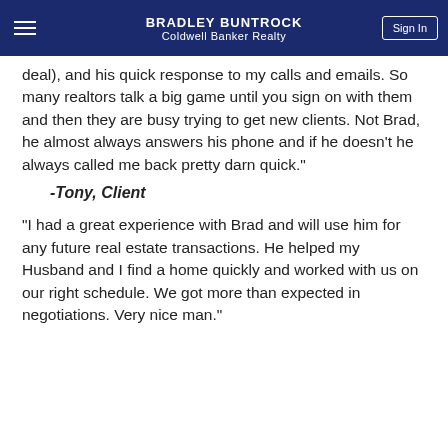BRADLEY BUNTROCK
Coldwell Banker Realty
deal), and his quick response to my calls and emails. So many realtors talk a big game until you sign on with them and then they are busy trying to get new clients. Not Brad, he almost always answers his phone and if he doesn't he always called me back pretty darn quick."
-Tony, Client
"I had a great experience with Brad and will use him for any future real estate transactions. He helped my Husband and I find a home quickly and worked with us on our right schedule. We got more than expected in negotiations. Very nice man."